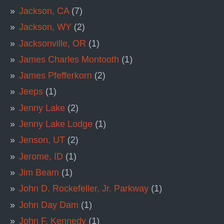» Jackson, CA (7)
» Jackson, WY (2)
» Jacksonville, OR (1)
» James Charles Montooth (1)
» James Pfefferkorn (2)
» Jeeps (1)
» Jenny Lake (2)
» Jenny Lake Lodge (1)
» Jenson, UT (2)
» Jerome, ID (1)
» Jim Beam (1)
» John D. Rockefeller, Jr. Parkway (1)
» John Day Dam (1)
» John F. Kennedy (1)
» John Lautner (1)